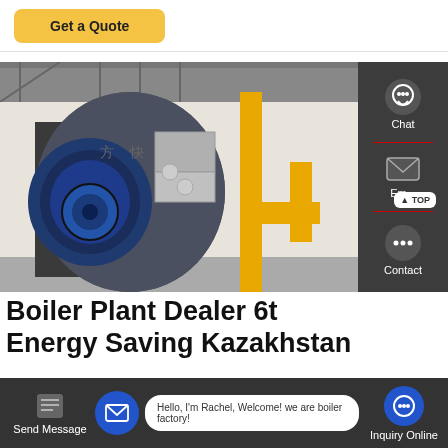Get a Quote
[Figure (photo): Industrial boiler plant interior showing large cylindrical gas-fired boiler with blue front panel and yellow gas piping in a factory setting.]
Boiler Plant Dealer 6t Energy Saving Kazakhstan
Chat
Email
Contact
Hello, I'm Rachel, Welcome! we are boiler factory!
Send Message
Inquiry Online